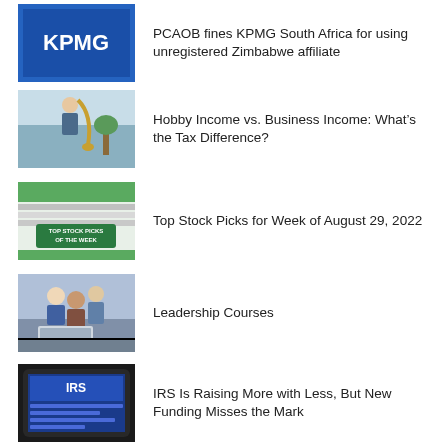[Figure (photo): KPMG logo on blue background]
PCAOB fines KPMG South Africa for using unregistered Zimbabwe affiliate
[Figure (photo): Person playing saxophone in an office setting]
Hobby Income vs. Business Income: What's the Tax Difference?
[Figure (photo): Top Stock Picks of the Week TV-style graphic on green background]
Top Stock Picks for Week of August 29, 2022
[Figure (photo): Group of people looking at a laptop together]
Leadership Courses
[Figure (photo): IRS logo on a tablet screen]
IRS Is Raising More with Less, But New Funding Misses the Mark